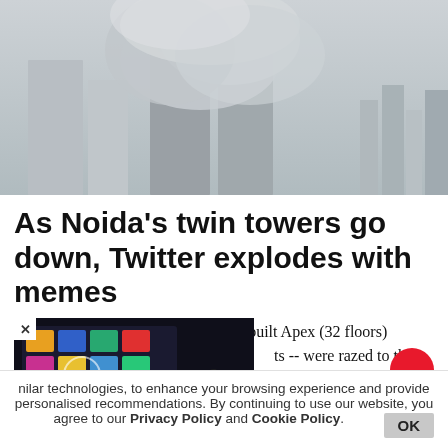[Figure (photo): Aerial/wide shot of tall buildings being demolished with large clouds of dust and smoke rising from the structures, cityscape in background, black and white/grey tones]
As Noida's twin towers go down, Twitter explodes with memes
The nearly 100-metre-high illegally-built Apex (32 floors) and Ceyane (29 floors) -- were razed to the ground using controlled demolition techniques. Over 3,700 kg of explosives were used in bringing down the structures
[Figure (photo): Advertisement overlay showing a hand holding a TV remote control in front of a television screen displaying colorful app icons, dark background]
nilar technologies, to enhance your browsing experience and provide personalised recommendations. By continuing to use our website, you agree to our Privacy Policy and Cookie Policy.